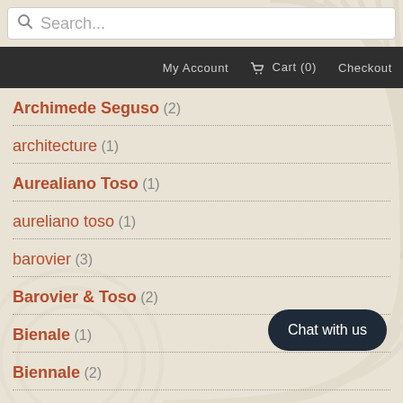Search...
My Account   Cart (0)   Checkout
Archimede Seguso (2)
architecture (1)
Aurealiano Toso (1)
aureliano toso (1)
barovier (3)
Barovier & Toso (2)
Bienale (1)
Biennale (2)
Bitossi (1)
Chat with us